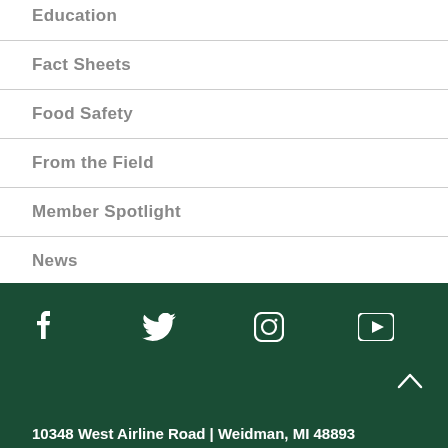Education
Fact Sheets
Food Safety
From the Field
Member Spotlight
News
Press Releases
Resources
10348 West Airline Road | Weidman, MI 48893